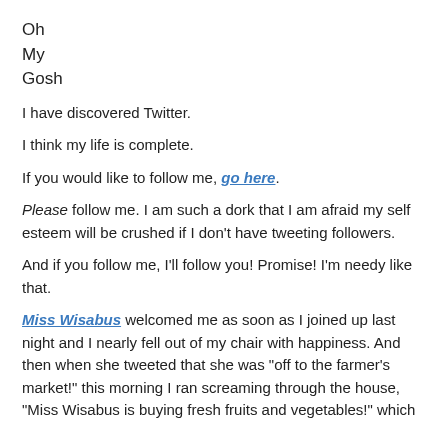Oh
My
Gosh
I have discovered Twitter.
I think my life is complete.
If you would like to follow me, go here.
Please follow me. I am such a dork that I am afraid my self esteem will be crushed if I don't have tweeting followers.
And if you follow me, I'll follow you! Promise! I'm needy like that.
Miss Wisabus welcomed me as soon as I joined up last night and I nearly fell out of my chair with happiness. And then when she tweeted that she was "off to the farmer's market!" this morning I ran screaming through the house, "Miss Wisabus is buying fresh fruits and vegetables!" which